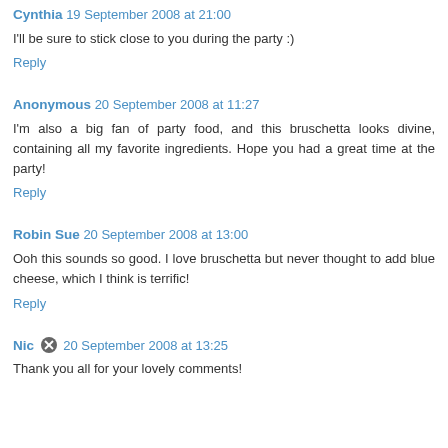Cynthia 19 September 2008 at 21:00
I'll be sure to stick close to you during the party :)
Reply
Anonymous 20 September 2008 at 11:27
I'm also a big fan of party food, and this bruschetta looks divine, containing all my favorite ingredients. Hope you had a great time at the party!
Reply
Robin Sue 20 September 2008 at 13:00
Ooh this sounds so good. I love bruschetta but never thought to add blue cheese, which I think is terrific!
Reply
Nic 20 September 2008 at 13:25
Thank you all for your lovely comments!